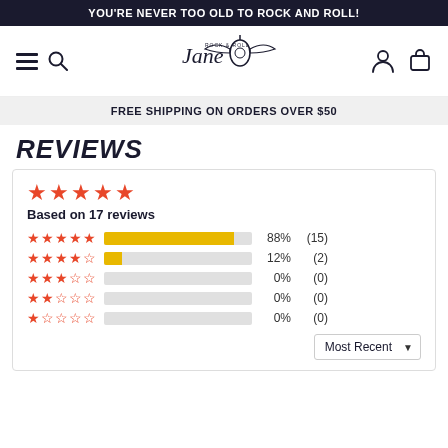YOU'RE NEVER TOO OLD TO ROCK AND ROLL!
[Figure (logo): Rock & Roll Jane logo with guitar and wings]
FREE SHIPPING ON ORDERS OVER $50
REVIEWS
[Figure (infographic): Review rating summary: 5 stars, Based on 17 reviews. 5-star: 88% (15), 4-star: 12% (2), 3-star: 0% (0), 2-star: 0% (0), 1-star: 0% (0). Sort: Most Recent.]